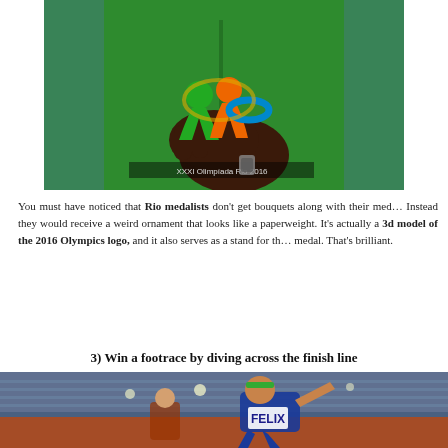[Figure (photo): A person in a green hoodie holding a colorful 3D model of the Rio 2016 Olympics logo — an ornament with figures in green, orange, and blue colors.]
You must have noticed that Rio medalists don't get bouquets along with their medals. Instead they would receive a weird ornament that looks like a paperweight. It's actually a 3d model of the 2016 Olympics logo, and it also serves as a stand for the medal. That's brilliant.
3) Win a footrace by diving across the finish line
[Figure (photo): A female athlete in a blue and white uniform with a green headband diving across a finish line at what appears to be the Rio 2016 Olympics track event. The name 'FELIX' is partially visible on her bib.]